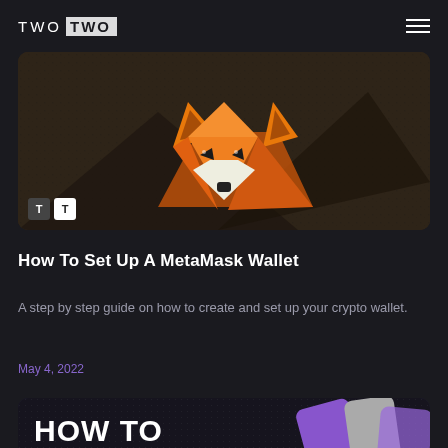TWO TWO
[Figure (illustration): MetaMask fox logo — orange geometric low-poly fox face on a dark brown/grey textured background, with two author avatar thumbnails in the bottom left corner]
How To Set Up A MetaMask Wallet
A step by step guide on how to create and set up your crypto wallet.
May 4, 2022
[Figure (illustration): Partial card showing 'HOW TO BUY' text in large bold white letters, with purple and grey 3D geometric shapes visible on the right side against a dark speckled background]